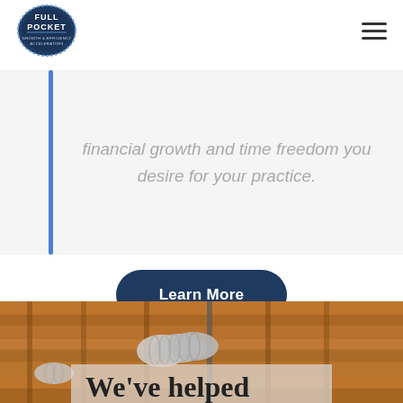[Figure (logo): Full Pocket Growth & Efficiency Accelerators logo — circular badge with denim-style border]
financial growth and time freedom you desire for your practice.
Learn More
[Figure (photo): Construction site ceiling with wooden joists and silver HVAC ductwork]
We've helped